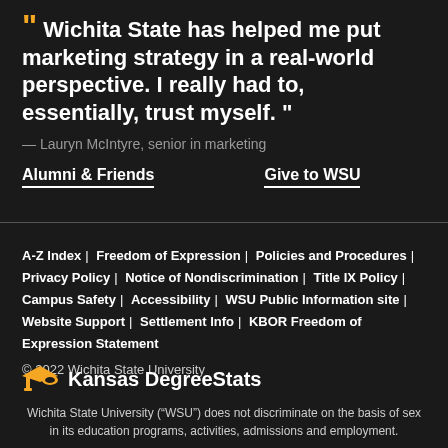“ Wichita State has helped me put marketing strategy in a real-world perspective. I really had to, essentially, trust myself. ”
— Lauryn McIntyre, senior in marketing
Alumni & Friends
Give to WSU
A-Z Index | Freedom of Expression | Policies and Procedures | Privacy Policy | Notice of Nondiscrimination | Title IX Policy | Campus Safety | Accessibility | WSU Public Information site | Website Support | Settlement Info | KBOR Freedom of Expression Statement
© 2022 Wichita State University
[Figure (logo): Kansas DegreeStats logo: graduation cap icon in gold/yellow followed by bold text 'Kansas DegreeStats']
Wichita State University (“WSU”) does not discriminate on the basis of sex in its education programs, activities, admissions and employment.